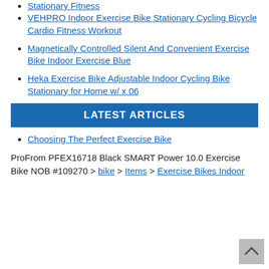Stationary Fitness
VEHPRO Indoor Exercise Bike Stationary Cycling Bicycle Cardio Fitness Workout
Magnetically Controlled Silent And Convenient Exercise Bike Indoor Exercise Blue
Heka Exercise Bike Adjustable Indoor Cycling Bike Stationary for Home w/ x 06
LATEST ARTICLES
Choosing The Perfect Exercise Bike
ProFrom PFEX16718 Black SMART Power 10.0 Exercise Bike NOB #109270 > bike > Items > Exercise Bikes Indoor